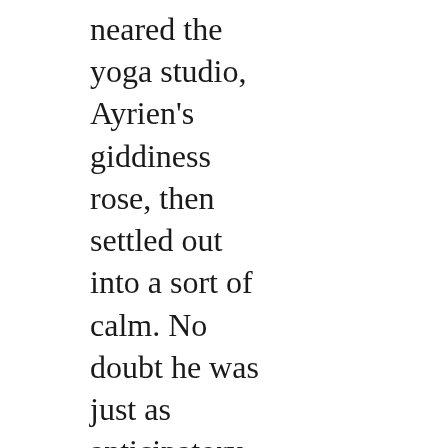neared the yoga studio, Ayrien's giddiness rose, then settled out into a sort of calm. No doubt he was just as anticipatory under the smooth smirk now on his face, but